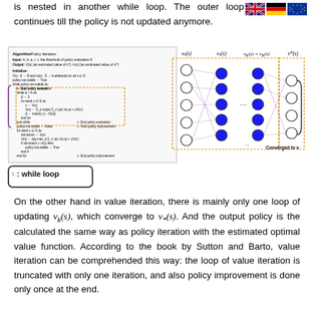is nested in another while loop. The outer loop continues till the policy is not updated anymore.
[Figure (illustration): Policy Iteration algorithm pseudocode on the left with a curly brace marking the while loop section, a neural network diagram on the right showing layers labeled v0(s), v1(s), vK(s)=vK(s), v*(s) with 'Converged to v*(s)' label, and a legend box '[ : while loop' at the bottom left.]
On the other hand in value iteration, there is mainly only one loop of updating v_k(s), which converge to v_*(s). And the output policy is the calculated the same way as policy iteration with the estimated optimal value function. According to the book by Sutton and Barto, value iteration can be comprehended this way: the loop of value iteration is truncated with only one iteration, and also policy improvement is done only once at the end.